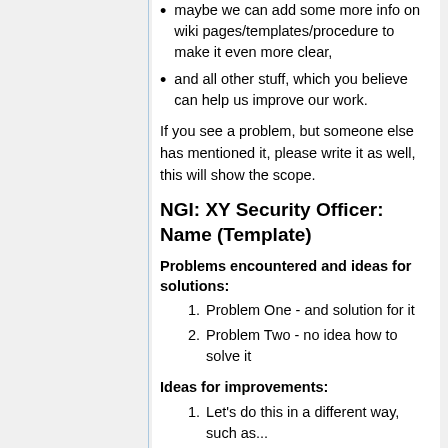maybe we can add some more info on wiki pages/templates/procedure to make it even more clear,
and all other stuff, which you believe can help us improve our work.
If you see a problem, but someone else has mentioned it, please write it as well, this will show the scope.
NGI: XY Security Officer: Name (Template)
Problems encountered and ideas for solutions:
Problem One - and solution for it
Problem Two - no idea how to solve it
Ideas for improvements:
Let's do this in a different way, such as...